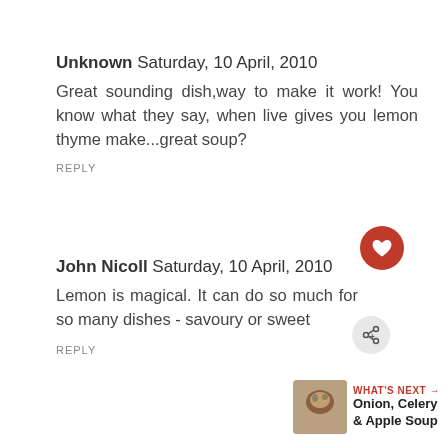Unknown Saturday, 10 April, 2010
Great sounding dish,way to make it work! You know what they say, when live gives you lemon thyme make...great soup?
REPLY
John Nicoll Saturday, 10 April, 2010
Lemon is magical. It can do so much for so many dishes - savoury or sweet
REPLY
WHAT'S NEXT → Onion, Celery & Apple Soup